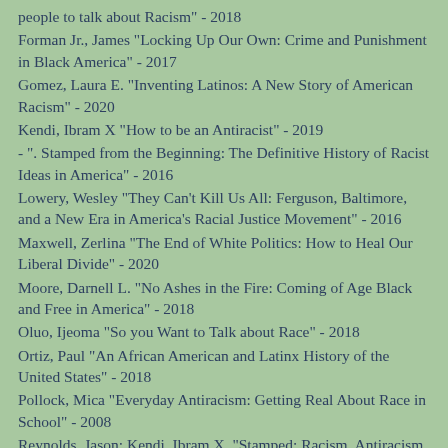people to talk about Racism" - 2018
Forman Jr., James "Locking Up Our Own: Crime and Punishment in Black America" - 2017
Gomez, Laura E. "Inventing Latinos: A New Story of American Racism" - 2020
Kendi, Ibram X "How to be an Antiracist" - 2019
- ". Stamped from the Beginning: The Definitive History of Racist Ideas in America" - 2016
Lowery, Wesley "They Can't Kill Us All: Ferguson, Baltimore, and a New Era in America's Racial Justice Movement" - 2016
Maxwell, Zerlina "The End of White Politics: How to Heal Our Liberal Divide" - 2020
Moore, Darnell L. "No Ashes in the Fire: Coming of Age Black and Free in America" - 2018
Oluo, Ijeoma "So you Want to Talk about Race" - 2018
Ortiz, Paul "An African American and Latinx History of the United States" - 2018
Pollock, Mica "Everyday Antiracism: Getting Real About Race in School" - 2008
Reynolds, Jason; Kendi, Ibram X. "Stamped: Racism, Antiracism, and You" - 2020
Saad, Layla F. "Me and White Supremacy: Combat Racism,